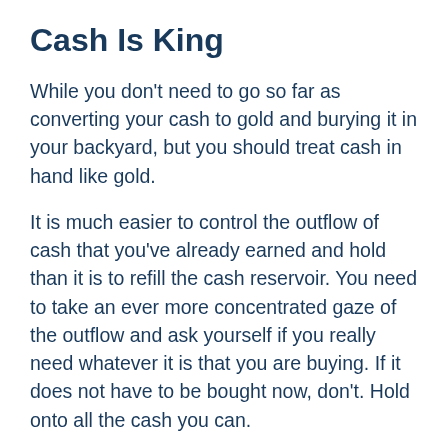Cash Is King
While you don't need to go so far as converting your cash to gold and burying it in your backyard, but you should treat cash in hand like gold.
It is much easier to control the outflow of cash that you've already earned and hold than it is to refill the cash reservoir. You need to take an ever more concentrated gaze of the outflow and ask yourself if you really need whatever it is that you are buying. If it does not have to be bought now, don't. Hold onto all the cash you can.